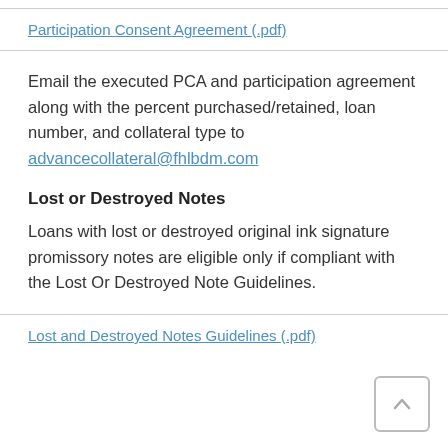Participation Consent Agreement (.pdf)
Email the executed PCA and participation agreement along with the percent purchased/retained, loan number, and collateral type to advancecollateral@fhlbdm.com
Lost or Destroyed Notes
Loans with lost or destroyed original ink signature promissory notes are eligible only if compliant with the Lost Or Destroyed Note Guidelines.
Lost and Destroyed Notes Guidelines (.pdf)